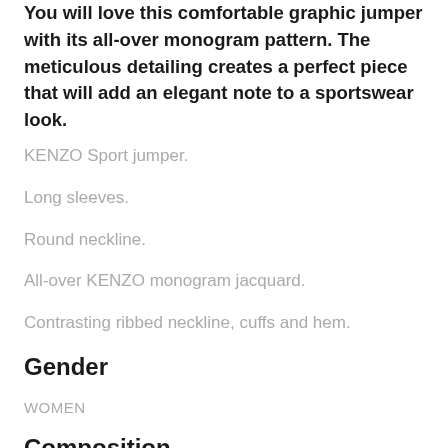You will love this comfortable graphic jumper with its all-over monogram pattern. The meticulous detailing creates a perfect piece that will add an elegant note to a sportswear look.
KENZO Sport jumper.
Long sleeves.
Round neckline.
All-over KENZO monogram jacquard.
Contrasting ribbed neckline, cuffs and hem.
Gender
WOMEN
Composition
6% cotton 77% nylon 20% elastane